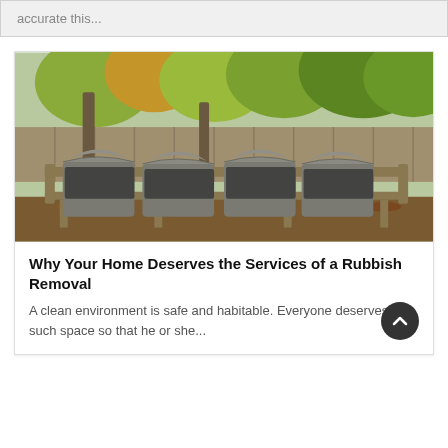accurate this...
[Figure (photo): Four gray trash cans with domed lids sitting in a wooden outdoor storage rack, surrounded by trees with autumn foliage and a wooden fence in the background.]
Why Your Home Deserves the Services of a Rubbish Removal
A clean environment is safe and habitable. Everyone deserves such space so that he or she...